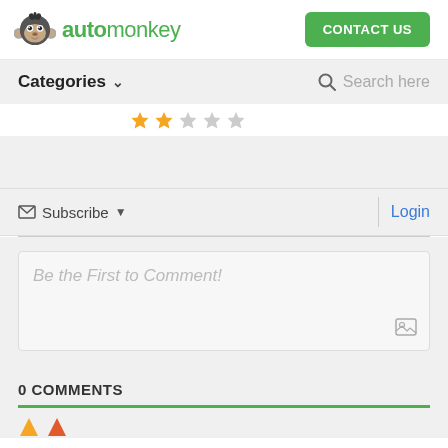[Figure (logo): Automonkey logo: monkey face icon with 'automonkey' text in green]
CONTACT US
Categories
Search here
[Figure (other): Star rating: 2 filled yellow stars and 3 empty gray stars]
Subscribe
Login
Be the First to Comment!
0 COMMENTS